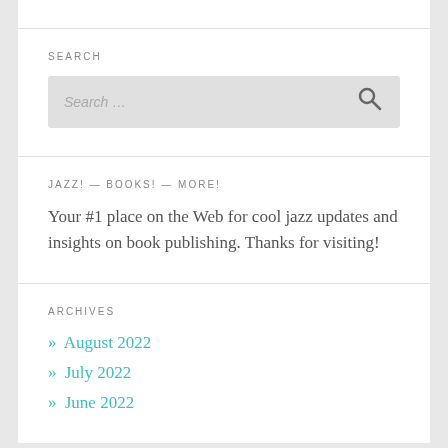SEARCH
Search …
JAZZ! — BOOKS! — MORE!
Your #1 place on the Web for cool jazz updates and insights on book publishing. Thanks for visiting!
ARCHIVES
» August 2022
» July 2022
» June 2022